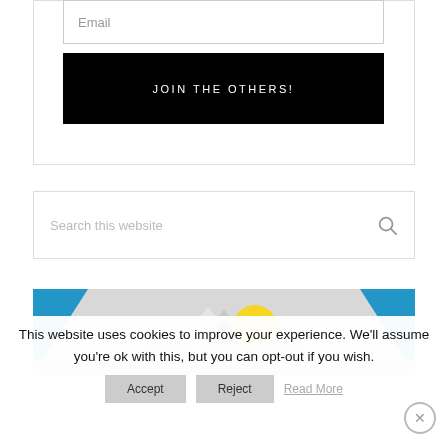Email
JOIN THE OTHERS!
Search this website
[Figure (illustration): Illustrated mountain/landscape scene with blue sky, mountains, and a yellow sun]
This website uses cookies to improve your experience. We'll assume you're ok with this, but you can opt-out if you wish.
Accept
Reject
Read More